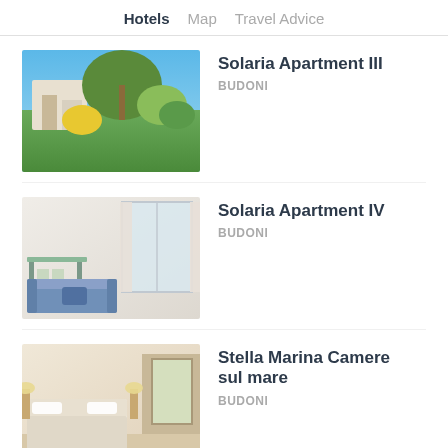Hotels  Map  Travel Advice
Solaria Apartment III
BUDONI
[Figure (photo): Outdoor view of a Mediterranean property with olive tree and lush green and yellow shrubs, white building visible in background under blue sky]
Solaria Apartment IV
BUDONI
[Figure (photo): Interior of an apartment showing a dining table with chairs, a blue sofa, and sheer white curtains on a bright window]
Stella Marina Camere sul mare
BUDONI
[Figure (photo): Hotel room interior with a double bed with white linens, bedside lamps, and balcony door with natural light]